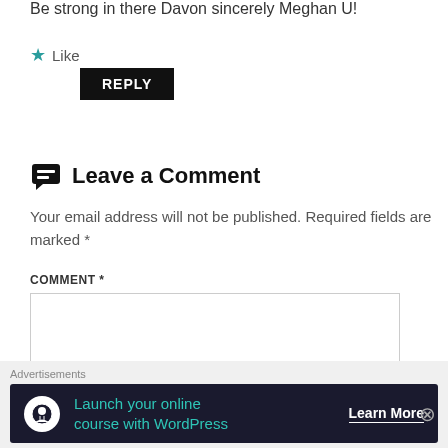Be strong in there Davon sincerely Meghan U!
★ Like
REPLY
Leave a Comment
Your email address will not be published. Required fields are marked *
COMMENT *
Advertisements
[Figure (infographic): Advertisement banner: Launch your online course with WordPress - Learn More button, dark navy background with teal text and a white circular icon.]